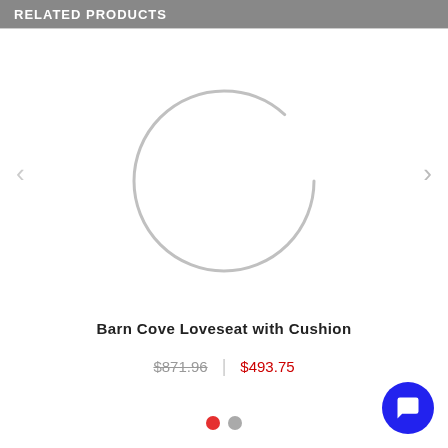RELATED PRODUCTS
[Figure (illustration): Loading spinner graphic — a large circular arc in light gray, suggesting a loading/spinner animation overlaid on a white product card area. Left and right navigation arrows are visible on either side.]
Barn Cove Loveseat with Cushion
$871.96 | $493.75